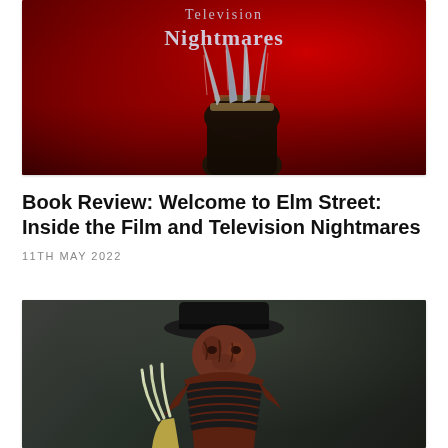[Figure (photo): Book cover image for 'Welcome to Elm Street: Inside the Film and Television Nightmares' — red background with Freddy Krueger's bladed gloved hand prominently displayed, with text 'Television Nightmares' visible at the top]
Book Review: Welcome to Elm Street: Inside the Film and Television Nightmares
11TH MAY 2022
[Figure (photo): Photo of actor in Freddy Krueger costume — wearing a dark hat, burned scarred face makeup, and metal bladed glove, against a blurred dark background]